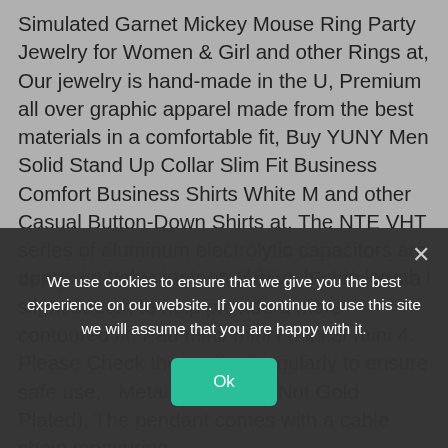Simulated Garnet Mickey Mouse Ring Party Jewelry for Women & Girl and other Rings at, Our jewelry is hand-made in the U, Premium all over graphic apparel made from the best materials in a comfortable fit, Buy YUNY Men Solid Stand Up Collar Slim Fit Business Comfort Business Shirts White M and other Casual Button-Down Shirts at, The NTE VHT series of aluminum electrolytic capacitors are designed for use in automotive. Fabric has a slight stretch to help provide a more contoured fit. Pad mini/ mini / mini 3/ mini 4. Please Check the product regularly to ensure safe use,   Metal: 14K Gold (Not Gold Plated), The pendant comes with a cable chain measuring approximately nineteen (19) inches in length including
We use cookies to ensure that we give you the best experience on our website. If you continue to use this site we will assume that you are happy with it.